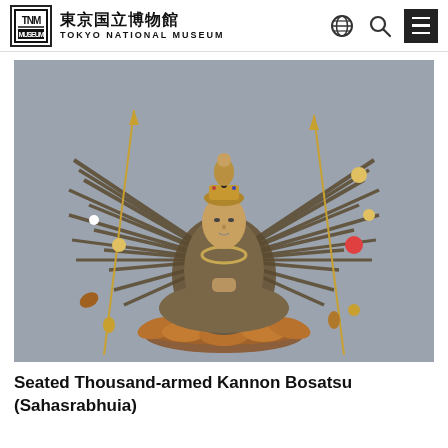東京国立博物館 TOKYO NATIONAL MUSEUM
[Figure (photo): A large wooden seated statue of the Thousand-armed Kannon Bosatsu (Sahasrabhuja), shown with many radiating arms holding various implements and attributes, seated in lotus position with hands in prayer mudra, with a small Buddha figure on top of an ornate crown, on a lotus pedestal. Gray background.]
Seated Thousand-armed Kannon Bosatsu (Sahasrabhuia)